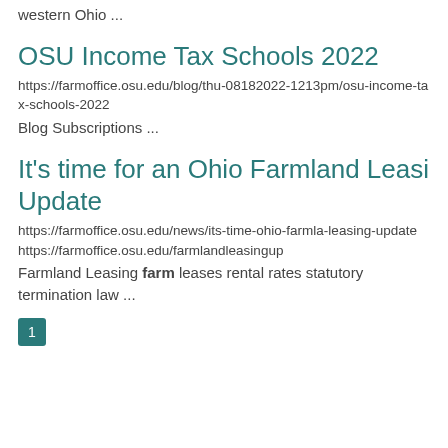western Ohio ...
OSU Income Tax Schools 2022
https://farmoffice.osu.edu/blog/thu-08182022-1213pm/osu-income-tax-schools-2022
Blog Subscriptions ...
It's time for an Ohio Farmland Leasing Update
https://farmoffice.osu.edu/news/its-time-ohio-farmla-leasing-update
https://farmoffice.osu.edu/farmlandleasingup
Farmland Leasing farm leases rental rates statutory termination law ...
1